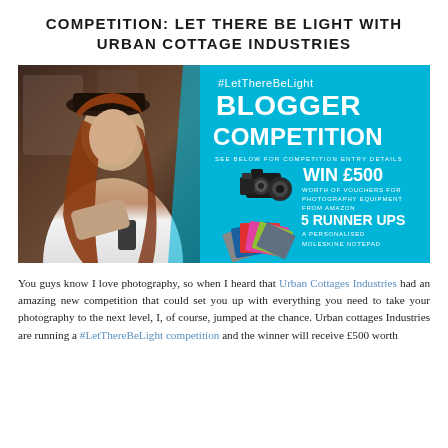COMPETITION: LET THERE BE LIGHT WITH URBAN COTTAGE INDUSTRIES
[Figure (photo): Blogger competition promotional banner. Left half shows a young woman with long red hair wearing a hat and white shirt, looking at her phone. Right half is cyan/turquoise background with white text: #LetThereBeLight BLOGGER COMPETITION, SEE BELOW FOR COMPETITION ENTRY DETAILS, WIN £500 WORTH OF VOUCHERS FOR PHOTOGRAPHY EQUIPMENT FROM AMAZON, 5 RUNNER UPS A PERSONALISED MOLESKINE NOTEPAD. Camera equipment and colorful notepads shown.]
You guys know I love photography, so when I heard that Urban Cottages Industries had an amazing new competition that could set you up with everything you need to take your photography to the next level, I, of course, jumped at the chance. Urban cottages Industries are running a #LetThereBeLight competition and the winner will receive £500 worth